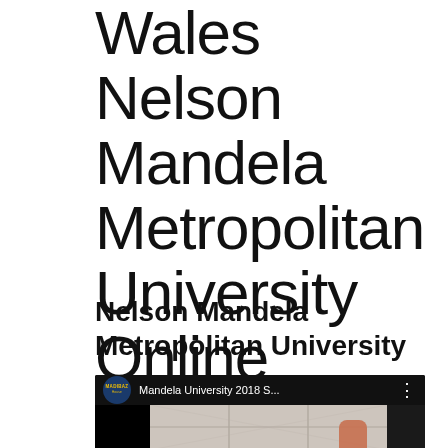Wales Nelson Mandela Metropolitan University Online Application 2018
Nelson Mandela Metropolitan University
[Figure (screenshot): YouTube video thumbnail showing Mandela University 2018 S... video by MADIBAZ channel, with a view of a ceiling and a hand visible, black bars on sides.]